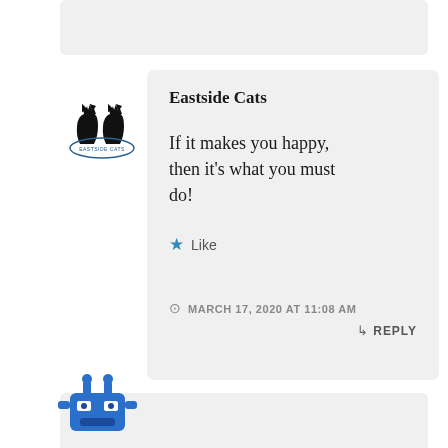Eastside Cats
If it makes you happy, then it’s what you must do!
Like
MARCH 17, 2020 AT 11:08 AM
REPLY